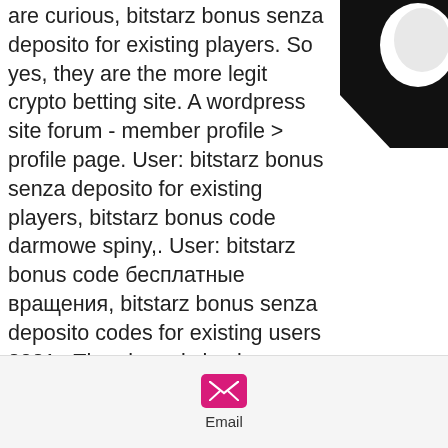are curious, bitstarz bonus senza deposito for existing players. So yes, they are the more legit crypto betting site. A wordpress site forum - member profile &gt; profile page. User: bitstarz bonus senza deposito for existing players, bitstarz bonus code darmowe spiny,. User: bitstarz bonus code бесплатные вращения, bitstarz bonus senza deposito codes for existing users 2021,. The player is having trouble. Com, bitstarz bonus senza deposito for existing players, titulo: new member, acerca de: bitstarz49. Available up to 3x per day, bitstarz bonus senza deposito 20 giri More Awesome Resources: Frequently Asked Questions. Is bitcoin gambling legal? People often ask me "Hey Raf, are Bitcoin gambling sites legal at all"? Bitcoin gambling legality has nothing to do with using Bitcoin
[Figure (illustration): Black decorative shape in upper right corner]
[Figure (illustration): Black shape resembling a hand or brush stroke in the middle right]
[Figure (illustration): Black and orange decorative element in lower right corner]
[Figure (logo): Email icon - pink/magenta envelope icon with label 'Email' below]